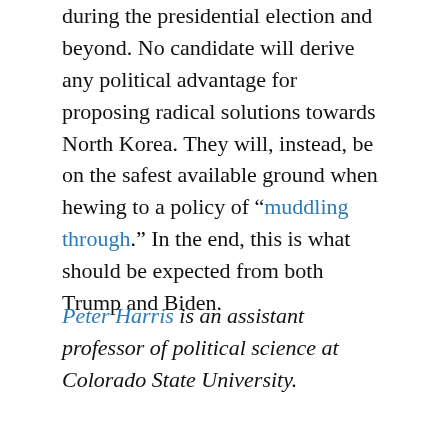during the presidential election and beyond. No candidate will derive any political advantage for proposing radical solutions towards North Korea. They will, instead, be on the safest available ground when hewing to a policy of “muddling through.” In the end, this is what should be expected from both Trump and Biden.
Peter Harris is an assistant professor of political science at Colorado State University.